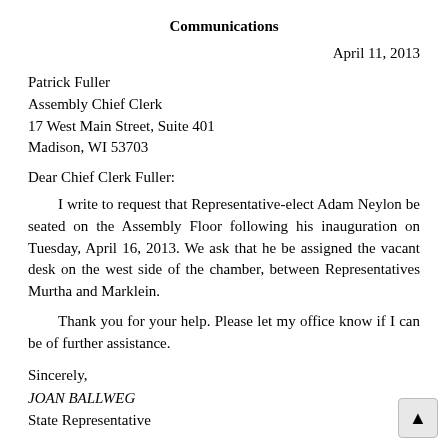Communications
April 11, 2013
Patrick Fuller
Assembly Chief Clerk
17 West Main Street, Suite 401
Madison, WI 53703
Dear Chief Clerk Fuller:
I write to request that Representative-elect Adam Neylon be seated on the Assembly Floor following his inauguration on Tuesday, April 16, 2013. We ask that he be assigned the vacant desk on the west side of the chamber, between Representatives Murtha and Marklein.
Thank you for your help. Please let my office know if I can be of further assistance.
Sincerely,
JOAN BALLWEG
State Representative